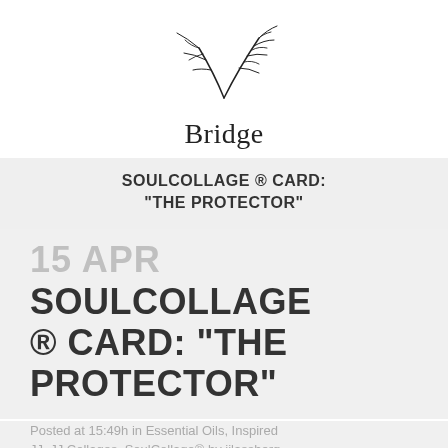[Figure (logo): Botanical leaf/branch illustration logo]
Bridge
SOULCOLLAGE ® CARD: "THE PROTECTOR"
15 APR SOULCOLLAGE ® CARD: "THE PROTECTOR"
Posted at 15:49h in Essential Oils, Inspired JJ, JJ Collages, SoulCollage® by jjlassberg
· 0 Comments · 0 Likes
All the images in "The Protector" SoulCollage ® Card are
Public Domain, Copyright-Free images from The